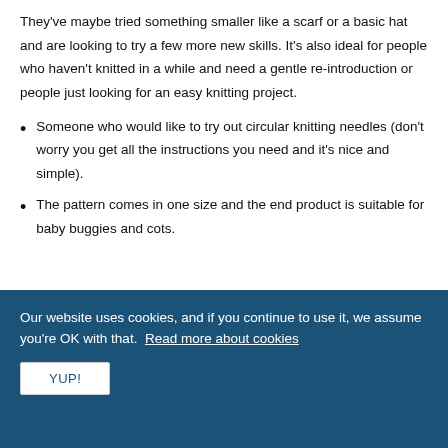They've maybe tried something smaller like a scarf or a basic hat and are looking to try a few more new skills. It's also ideal for people who haven't knitted in a while and need a gentle re-introduction or people just looking for an easy knitting project.
Someone who would like to try out circular knitting needles (don't worry you get all the instructions you need and it's nice and simple).
The pattern comes in one size and the end product is suitable for baby buggies and cots.
Our website uses cookies, and if you continue to use it, we assume you're OK with that.  Read more about cookies
YUP!